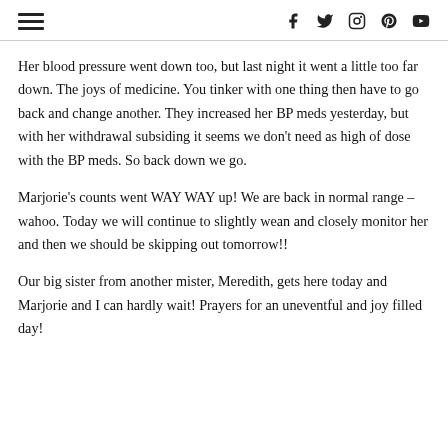[hamburger menu] [social icons: f, twitter, instagram, pinterest, youtube]
Her blood pressure went down too, but last night it went a little too far down. The joys of medicine. You tinker with one thing then have to go back and change another. They increased her BP meds yesterday, but with her withdrawal subsiding it seems we don't need as high of dose with the BP meds. So back down we go.
Marjorie's counts went WAY WAY up! We are back in normal range – wahoo. Today we will continue to slightly wean and closely monitor her and then we should be skipping out tomorrow!!
Our big sister from another mister, Meredith, gets here today and Marjorie and I can hardly wait! Prayers for an uneventful and joy filled day!